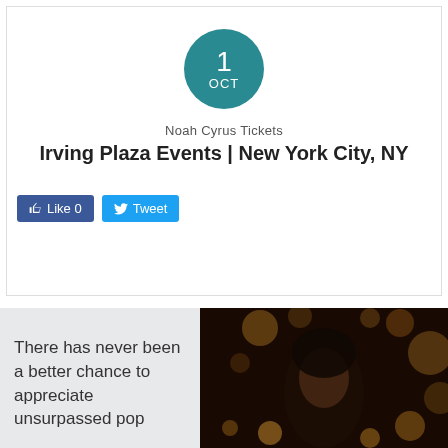[Figure (infographic): Teal circle badge showing date: 1 OCT]
Noah Cyrus Tickets
Irving Plaza Events | New York City, NY
[Figure (infographic): Facebook Like 0 button and Twitter Tweet button]
GET TICKETS
There has never been a better chance to appreciate unsurpassed pop
[Figure (photo): Dark photo of a young woman with bokeh candle lights in the background]